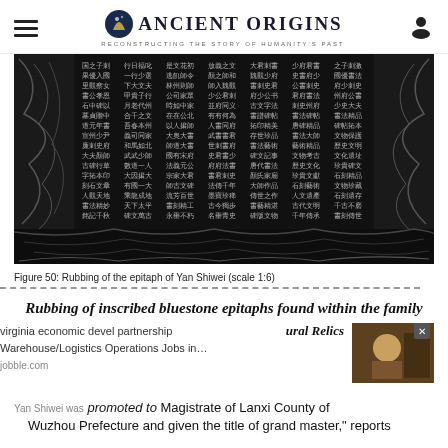Ancient Origins — Reconstructing the Story of Humanity's Past
[Figure (photo): Rubbing of the epitaph of Yan Shiwei showing dense Chinese characters on stone, black and white impression at scale 1:6]
Figure 50: Rubbing of the epitaph of Yan Shiwei (scale 1:6)
Rubbing of inscribed bluestone epitaphs found within the family
virginia economic devel partnership Warehouse/Logistics Operations Jobs in…
ural Relics
Yan Shiwei was promoted to Magistrate of Lanxi County of Wuzhou Prefecture and given the title of grand master," reports